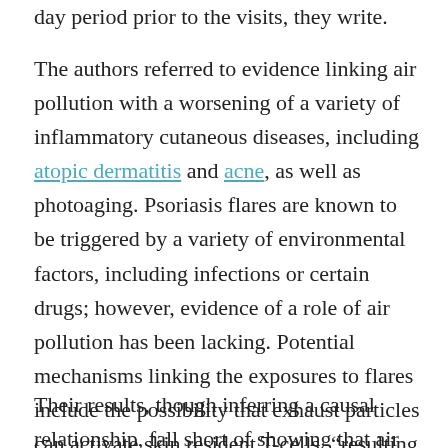day period prior to the visits, they write.
The authors referred to evidence linking air pollution with a worsening of a variety of inflammatory cutaneous diseases, including atopic dermatitis and acne, as well as photoaging. Psoriasis flares are known to be triggered by a variety of environmental factors, including infections or certain drugs; however, evidence of a role of air pollution has been lacking. Potential mechanisms linking the exposures to flares include the possibility that exhaust particles can activate skin resident T-cells, “resulting in abnormal production of pro-inflammatory cytokines including tumor necrosis factor α (TNF-α) and interleukins (ILs), including IL-1α, IL-1β, IL-6, and IL-8.8,” the authors write.
Their results, though inferring a causal relationship, fall short of showing that air pollution caused the visits